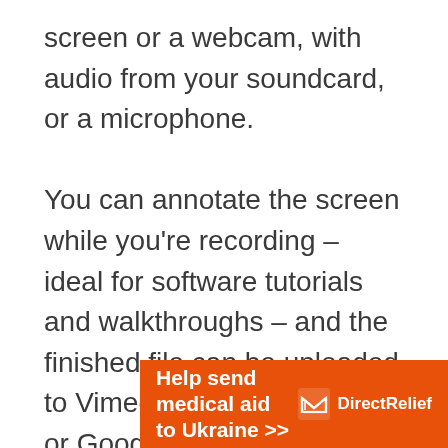screen or a webcam, with audio from your soundcard, or a microphone.

You can annotate the screen while you're recording – ideal for software tutorials and walkthroughs – and the finished file can be uploaded to Vimeo, YouTube, Dropbox or Google Drive. You can also save it to your PC or Mac as a video or GIF file, or launch Apowersoft's video editing application to edit it
[Figure (other): Advertisement banner for Direct Relief: orange background with text 'Help send medical aid to Ukraine >>' and Direct Relief logo with envelope icon]